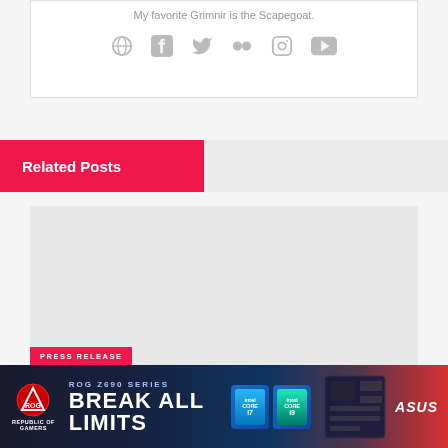My favorite Grimnir is the Scapegoat.
[Figure (illustration): Social media icons: globe, Facebook, Twitter, Flickr, Instagram, YouTube — all in gray]
Related Posts
[Figure (photo): Light gray placeholder image for a related post card]
PRESS RELEASE
[Figure (illustration): ASUS ROG Z690 Series advertisement banner — Break All Limits — dark background with ROG logo, series name, main headline, Intel Core chip images, motherboard photo, and ASUS logo]